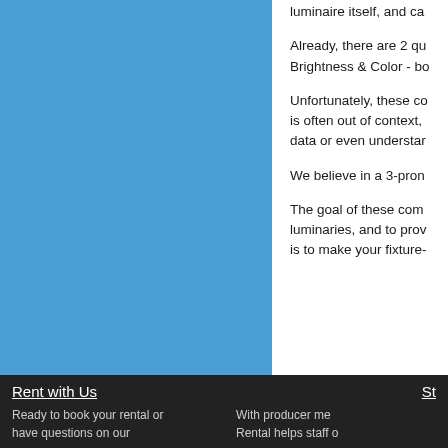[Figure (other): Large blue rectangle panel on the left side of the page]
luminaire itself, and ca
Already, there are 2 qu Brightness & Color - bo
Unfortunately, these co is often out of context, data or even understar
We believe in a 3-pron
The goal of these com luminaries, and to prov is to make your fixture-
Rent with Us
Ready to book your rental or have questions on our
St
With producer me Rental helps staff o